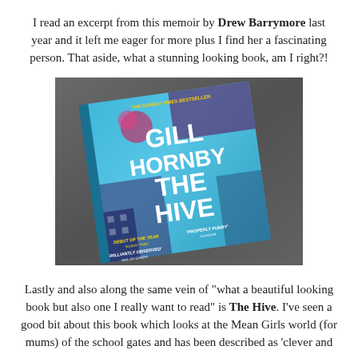I read an excerpt from this memoir by Drew Barrymore last year and it left me eager for more plus I find her a fascinating person. That aside, what a stunning looking book, am I right?!
[Figure (photo): Photo of the book 'The Hive' by Gill Hornby with a colorful blue illustrated cover, resting on a dark leather surface. The cover features large white bold text reading 'GILL HORNBY THE HIVE' with floral and patterned illustrations. Text at bottom reads 'DEBUT OF THE YEAR', 'PROPERLY FUNNY', 'BRILLIANTLY OBSERVED'.]
Lastly and also along the same vein of "what a beautiful looking book but also one I really want to read" is The Hive. I've seen a good bit about this book which looks at the Mean Girls world (for mums) of the school gates and has been described as 'clever and